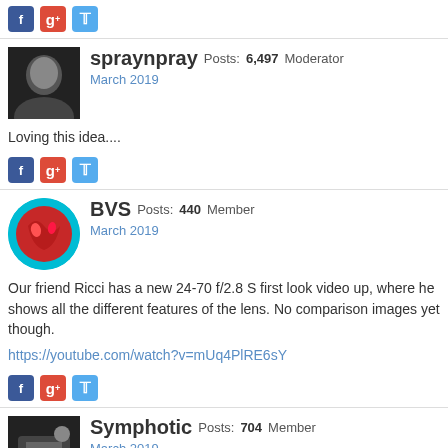[Figure (other): Social share buttons: Facebook, Google+, Twitter]
spraynpray Posts: 6,497 Moderator
March 2019
Loving this idea....
[Figure (other): Social share buttons: Facebook, Google+, Twitter]
BVS Posts: 440 Member
March 2019
Our friend Ricci has a new 24-70 f/2.8 S first look video up, where he shows all the different features of the lens. No comparison images yet though.
https://youtube.com/watch?v=mUq4PlRE6sY
[Figure (other): Social share buttons: Facebook, Google+, Twitter]
Symphotic Posts: 704 Member
March 2019
BVS said:
Our friend Ricci has a new 24-70 f/2.8 S first look video up, where he shows all the different features of the lens.